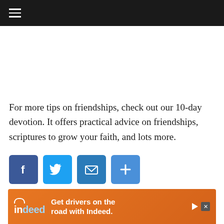≡ (hamburger menu)
For more tips on friendships, check out our 10-day devotion. It offers practical advice on friendships, scriptures to grow your faith, and lots more.
[Figure (other): Social sharing icons: Facebook (blue), Twitter (blue bird), Email (envelope), More/Share (plus sign)]
FRIENDS   FRIENDSHIP
[Figure (other): Indeed advertisement banner: 'Get drivers on the road with Indeed.' with Indeed logo on orange background]